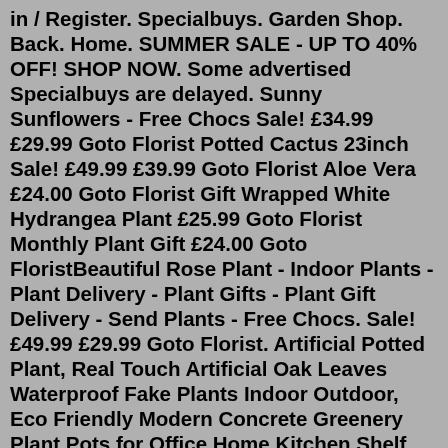in / Register. Specialbuys. Garden Shop. Back. Home. SUMMER SALE - UP TO 40% OFF! SHOP NOW. Some advertised Specialbuys are delayed. Sunny Sunflowers - Free Chocs Sale! £34.99 £29.99 Goto Florist Potted Cactus 23inch Sale! £49.99 £39.99 Goto Florist Aloe Vera £24.00 Goto Florist Gift Wrapped White Hydrangea Plant £25.99 Goto Florist Monthly Plant Gift £24.00 Goto FloristBeautiful Rose Plant - Indoor Plants - Plant Delivery - Plant Gifts - Plant Gift Delivery - Send Plants - Free Chocs. Sale! £49.99 £29.99 Goto Florist. Artificial Potted Plant, Real Touch Artificial Oak Leaves Waterproof Fake Plants Indoor Outdoor, Eco Friendly Modern Concrete Greenery Plant Pots for Office Home Kitchen Shelf Farmhouse Decor. 235. $1699$17.99. Save 5% with coupon. Get it as soon as Tue, May 31. FREE Shipping on orders over $25 shipped by Amazon. Artificial Trailing Fern Plant UV & Flame Retardant. Now £20.93 Was £23.25 | Save £2.32. Colour. Green. Variegated. Size. 45cm High x 30cm Wide. Mar 27, 2022 · 1 Fan Flowers, emer1940. Fan flowers, which